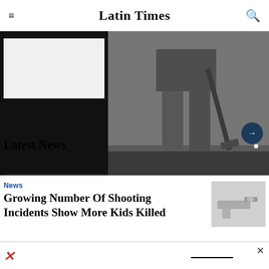Latin Times
[Figure (photo): Grayscale photo of a person's lower body standing with a shovel or tool, with a dark banner at the bottom and a navy arrow button]
Latest News
News
Growing Number Of Shooting Incidents Show More Kids Killed
[Figure (photo): Small grayscale thumbnail image appearing to show a gun or weapon]